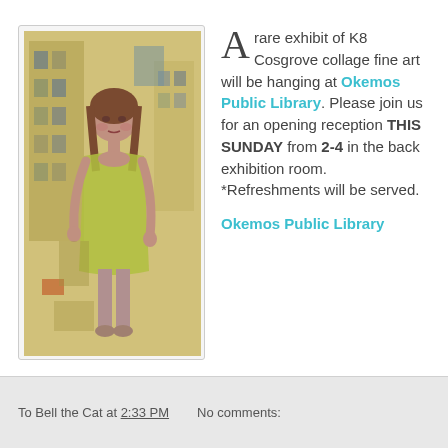[Figure (illustration): Painting of a girl in a yellow-green dress standing in front of a urban building background, collage fine art style by K8 Cosgrove]
A rare exhibit of K8 Cosgrove collage fine art will be hanging at Okemos Public Library. Please join us for an opening reception THIS SUNDAY from 2-4 in the back exhibition room. *Refreshments will be served.

Okemos Public Library
To Bell the Cat at 2:33 PM   No comments: